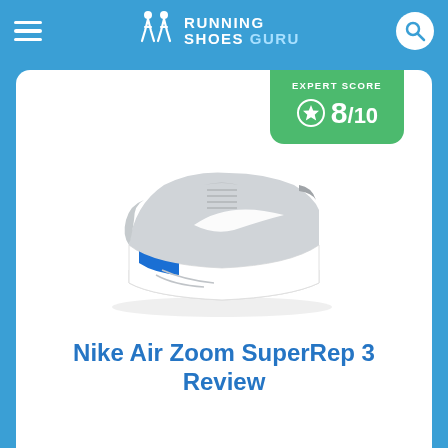Running Shoes Guru
[Figure (photo): Nike Air Zoom SuperRep 3 shoe, light gray colorway with white midsole and blue/red Air Zoom unit visible at the heel, shown from the lateral side.]
EXPERT SCORE 8/10
Nike Air Zoom SuperRep 3 Review
The Nike Superrep 3 is the ideal indoor class